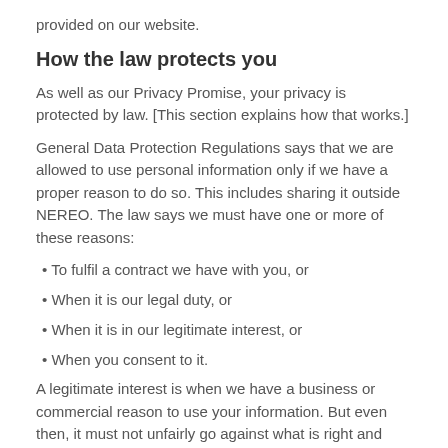provided on our website.
How the law protects you
As well as our Privacy Promise, your privacy is protected by law. [This section explains how that works.]
General Data Protection Regulations says that we are allowed to use personal information only if we have a proper reason to do so. This includes sharing it outside NEREO. The law says we must have one or more of these reasons:
• To fulfil a contract we have with you, or
• When it is our legal duty, or
• When it is in our legitimate interest, or
• When you consent to it.
A legitimate interest is when we have a business or commercial reason to use your information. But even then, it must not unfairly go against what is right and best for you. If we rely on our legitimate interest, we will tell you what that is